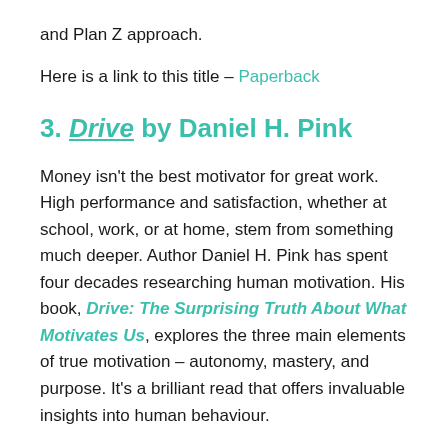and Plan Z approach.
Here is a link to this title – Paperback
3. Drive by Daniel H. Pink
Money isn't the best motivator for great work. High performance and satisfaction, whether at school, work, or at home, stem from something much deeper. Author Daniel H. Pink has spent four decades researching human motivation. His book, Drive: The Surprising Truth About What Motivates Us, explores the three main elements of true motivation – autonomy, mastery, and purpose. It's a brilliant read that offers invaluable insights into human behaviour.